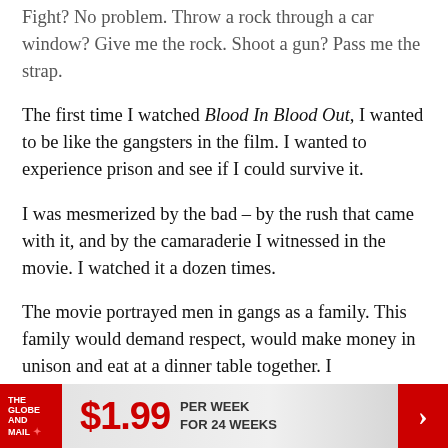Fight? No problem. Throw a rock through a car window? Give me the rock. Shoot a gun? Pass me the strap.
The first time I watched Blood In Blood Out, I wanted to be like the gangsters in the film. I wanted to experience prison and see if I could survive it.
I was mesmerized by the bad – by the rush that came with it, and by the camaraderie I witnessed in the movie. I watched it a dozen times.
The movie portrayed men in gangs as a family. This family would demand respect, would make money in unison and eat at a dinner table together. I
[Figure (infographic): The Globe and Mail advertisement banner: $1.99 per week for 24 weeks]